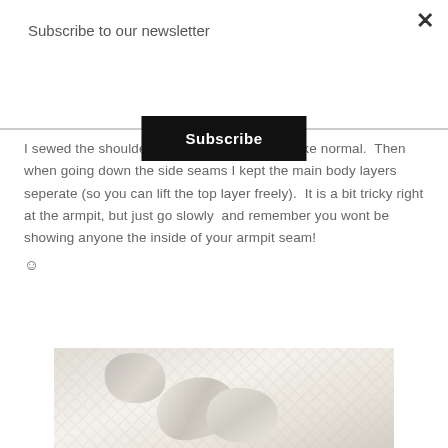Subscribe to our newsletter
Subscribe
×
I sewed the shoulder seams and sleeves on like normal.  Then when going down the side seams I kept the main body layers seperate (so you can lift the top layer freely).  It is a bit tricky right at the armpit, but just go slowly  and remember you wont be showing anyone the inside of your armpit seam! ☺
[Figure (photo): Close-up photograph of cream/off-white fabric showing sewn seams and folds, likely at the armpit/side seam area of a garment]